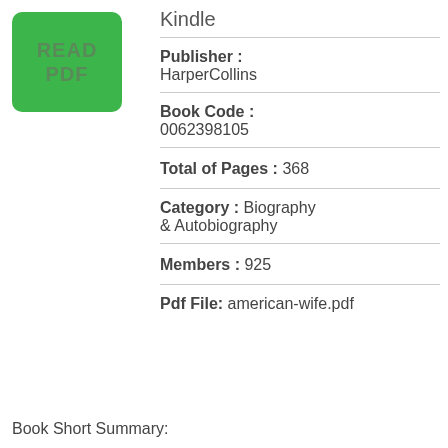[Figure (other): Green button with text READ PDF]
Kindle
Publisher : HarperCollins
Book Code : 0062398105
Total of Pages : 368
Category : Biography & Autobiography
Members : 925
Pdf File: american-wife.pdf
Book Short Summary: